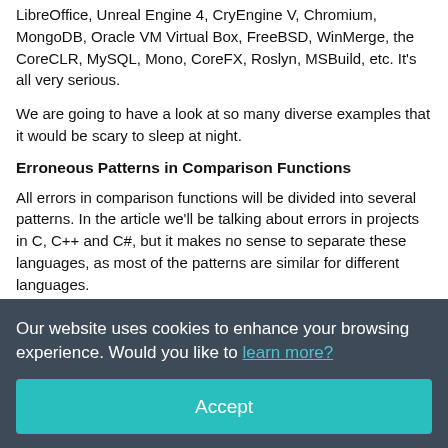LibreOffice, Unreal Engine 4, CryEngine V, Chromium, MongoDB, Oracle VM Virtual Box, FreeBSD, WinMerge, the CoreCLR, MySQL, Mono, CoreFX, Roslyn, MSBuild, etc. It's all very serious.
We are going to have a look at so many diverse examples that it would be scary to sleep at night.
Erroneous Patterns in Comparison Functions
All errors in comparison functions will be divided into several patterns. In the article we'll be talking about errors in projects in C, C++ and C#, but it makes no sense to separate these languages, as most of the patterns are similar for different languages.
Our website uses cookies to enhance your browsing experience. Would you like to learn more?
Accept